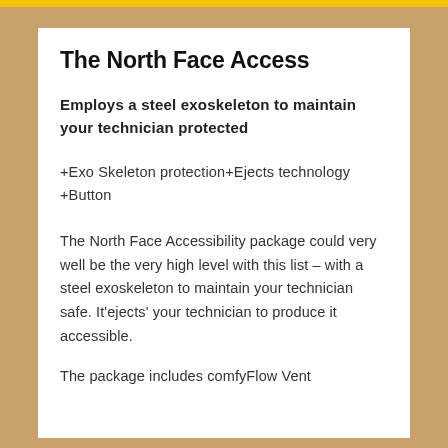The North Face Access
Employs a steel exoskeleton to maintain your technician protected
+Exo Skeleton protection+Ejects technology +Button
The North Face Accessibility package could very well be the very high level with this list – with a steel exoskeleton to maintain your technician safe. It'ejects' your technician to produce it accessible.
The package includes comfyFlow Vent